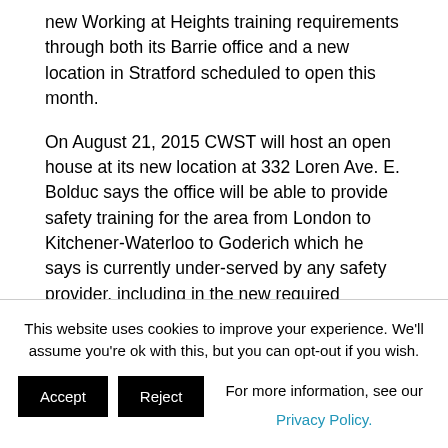new Working at Heights training requirements through both its Barrie office and a new location in Stratford scheduled to open this month.
On August 21, 2015 CWST will host an open house at its new location at 332 Loren Ave. E. Bolduc says the office will be able to provide safety training for the area from London to Kitchener-Waterloo to Goderich which he says is currently under-served by any safety provider, including in the new required working at heights training requirements.
“The new location will have training space, access to
This website uses cookies to improve your experience. We'll assume you're ok with this, but you can opt-out if you wish.
For more information, see our Privacy Policy.